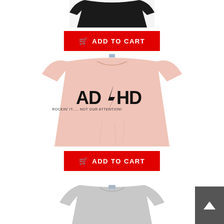[Figure (photo): Partial view of a black t-shirt at the top of the page]
ADD TO CART
[Figure (photo): Pink t-shirt with 'AD/HD' printed in large AC/DC-style font with a lightning bolt between AD and HD, and smaller text below]
ADD TO CART
[Figure (photo): Partial view of a gray t-shirt at the bottom of the page]